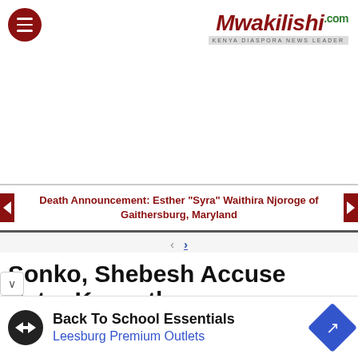[Figure (logo): Mwakilishi.com logo with hamburger menu icon]
[Figure (other): Advertisement space (blank white area)]
Death Announcement: Esther "Syra" Waithira Njoroge of Gaithersburg, Maryland
[Figure (other): Pagination navigation with < and > arrows]
Sonko, Shebesh Accuse Peter Kenneth
ing Kidnapla Project
[Figure (other): Advertisement: Back To School Essentials - Leesburg Premium Outlets]